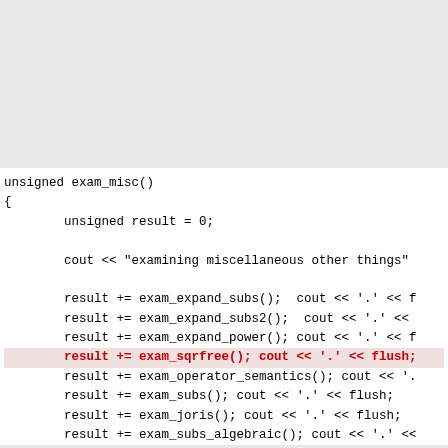[Figure (screenshot): Gray area at top representing scrolled-off content above the visible code region]
unsigned exam_misc()
{
        unsigned result = 0;

        cout << "examining miscellaneous other things"

        result += exam_expand_subs();  cout << '.' << f
        result += exam_expand_subs2();  cout << '.' <<
        result += exam_expand_power(); cout << '.' << f
        result += exam_sqrfree(); cout << '.' << flush;
        result += exam_operator_semantics(); cout << '.
        result += exam_subs(); cout << '.' << flush;
        result += exam_joris(); cout << '.' << flush;
        result += exam_subs_algebraic(); cout << '.' <<


        return result;
}